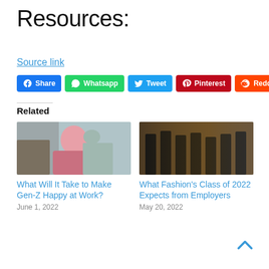Resources:
Source link
[Figure (infographic): Social sharing buttons: Facebook Share, Whatsapp, Tweet, Pinterest, Reddit]
Related
[Figure (photo): Young woman with pink hair wearing headphones and a pink hoodie, sitting and writing]
What Will It Take to Make Gen-Z Happy at Work?
June 1, 2022
[Figure (photo): Group of graduates in caps and gowns backlit by sunlight]
What Fashion’s Class of 2022 Expects from Employers
May 20, 2022